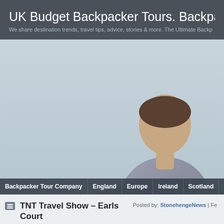UK Budget Backpacker Tours. Backpacker... We share destination trends, travel tips, advice, stories & more. The Ultimate Backp...
[Figure (photo): Hero banner photo of a man in a grey t-shirt sitting cross-legged and leaning forward with arms outstretched, against a light blue-grey sky background. Other figures partially visible in background.]
Backpacker Tour Company | England | Europe | Ireland | Scotland | Speci...
TNT Travel Show – Earls Court Two, 19th March 2011
Posted by: StonehengeNews | Fe...
Follow ...